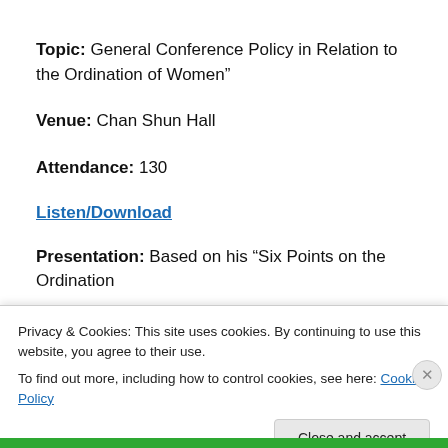Topic: General Conference Policy in Relation to the Ordination of Women”
Venue: Chan Shun Hall
Attendance: 130
Listen/Download
Presentation: Based on his “Six Points on the Ordination of Women Issue” & “Policy, Practice, Precedent &
Privacy & Cookies: This site uses cookies. By continuing to use this website, you agree to their use.
To find out more, including how to control cookies, see here: Cookie Policy
Close and accept